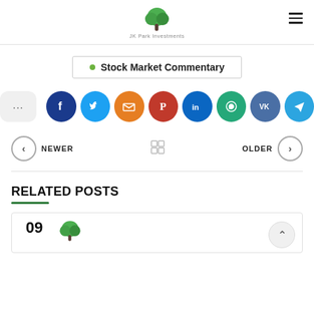JK Park Investments
Stock Market Commentary
[Figure (infographic): Social share buttons row: Facebook (dark blue), Twitter (light blue), Email (orange), Pinterest (red), LinkedIn (dark blue), WhatsApp (green), VK (slate blue), Telegram (blue)]
NEWER | grid icon | OLDER
RELATED POSTS
09